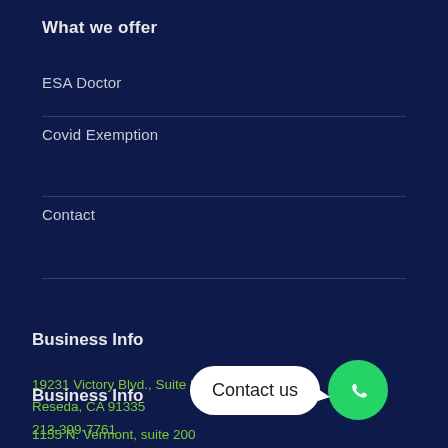What we offer
ESA Doctor
Covid Exemption
Contact
Business Info
19231 Victory Blvd., Suite 557,
Reseda, CA 91335
213-399-7761
Business Info
1155 N. Vermont, suite 200
Los Angeles, CA 90057
[Figure (illustration): WhatsApp contact button with speech bubble saying 'Contact us' and green WhatsApp icon]